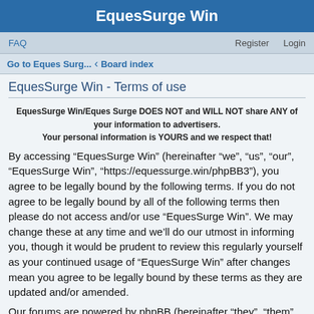EquesSurge Win
FAQ    Register    Login
Go to Eques Surg...  ‹  Board index
EquesSurge Win - Terms of use
EquesSurge Win/Eques Surge DOES NOT and WILL NOT share ANY of your information to advertisers.
Your personal information is YOURS and we respect that!
By accessing “EquesSurge Win” (hereinafter “we”, “us”, “our”, “EquesSurge Win”, “https://equessurge.win/phpBB3”), you agree to be legally bound by the following terms. If you do not agree to be legally bound by all of the following terms then please do not access and/or use “EquesSurge Win”. We may change these at any time and we’ll do our utmost in informing you, though it would be prudent to review this regularly yourself as your continued usage of “EquesSurge Win” after changes mean you agree to be legally bound by these terms as they are updated and/or amended.
Our forums are powered by phpBB (hereinafter “they”, “them”,